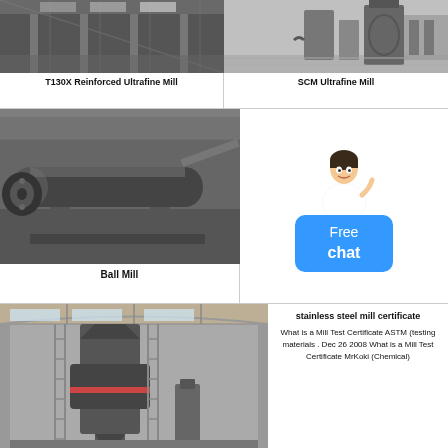[Figure (photo): Industrial interior of a factory with steel structure beams and equipment — T130X Reinforced Ultrafine Mill]
T130X Reinforced Ultrafine Mill
[Figure (photo): Industrial machinery on a factory floor — SCM Ultrafine Mill]
SCM Ultrafine Mill
[Figure (photo): Large cylindrical ball mill in an industrial setting — Ball Mill]
Ball Mill
[Figure (photo): Customer service representative with Free chat button]
[Figure (photo): Large vertical industrial mill machine inside a warehouse building]
stainless steel mill certificate
What is a Mill Test Certificate ASTM (testing materials . Dec 26 2008 What is a Mill Test Certificate MrKoki (Chemical)